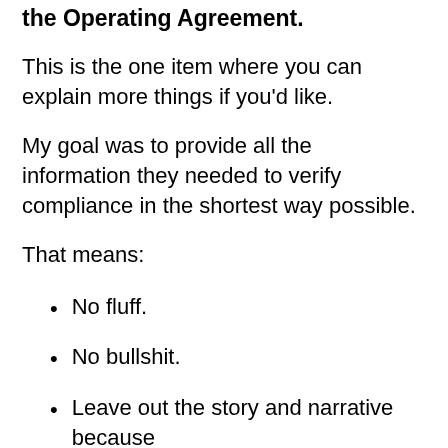the Operating Agreement.
This is the one item where you can explain more things if you’d like.
My goal was to provide all the information they needed to verify compliance in the shortest way possible.
That means:
No fluff.
No bullshit.
Leave out the story and narrative because